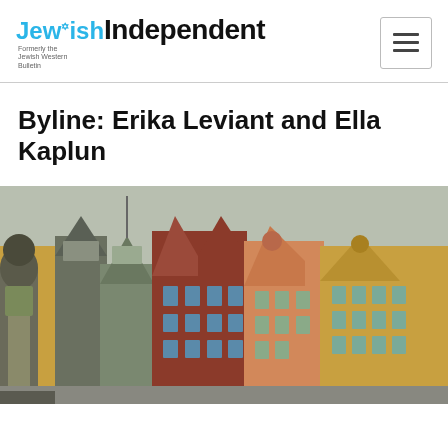[Figure (logo): Jewish Independent newspaper logo with blue 'Jewish' text and black 'Independent' text, subtitle 'Formerly the Jewish Western Bulletin']
Byline: Erika Leviant and Ella Kaplun
[Figure (photo): Photograph of colorful historic buildings in Stockholm's old town (Gamla Stan), showing tall stepped-gable buildings in red, orange, yellow and green with ornate architectural details]